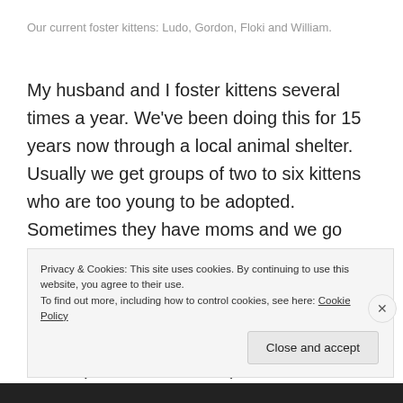Our current foster kittens: Ludo, Gordon, Floki and William.
My husband and I foster kittens several times a year. We've been doing this for 15 years now through a local animal shelter. Usually we get groups of two to six kittens who are too young to be adopted. Sometimes they have moms and we go through a weaning process with them (and drying out for momma kitty). More often they are without a mother. Once we even had a pregnant mom give birth at our house (to SEVEN! kittens).
Privacy & Cookies: This site uses cookies. By continuing to use this website, you agree to their use.
To find out more, including how to control cookies, see here: Cookie Policy
Close and accept